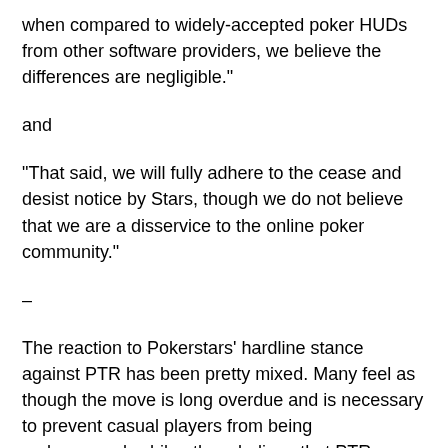when compared to widely-accepted poker HUDs from other software providers, we believe the differences are negligible."
and
"That said, we will fully adhere to the cease and desist notice by Stars, though we do not believe that we are a disservice to the online poker community."
–
The reaction to Pokerstars' hardline stance against PTR has been pretty mixed. Many feel as though the move is long overdue and is necessary to prevent casual players from being embarrassed, while others believe that PTR provides a valuable service and deserves a place in the online poker landscape.
Either way, profiles of Pokerstars players are no longer